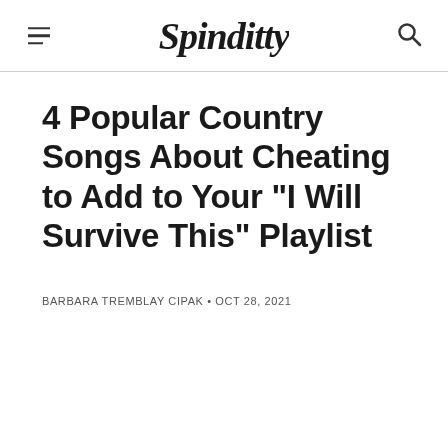Spinditty
4 Popular Country Songs About Cheating to Add to Your "I Will Survive This" Playlist
BARBARA TREMBLAY CIPAK • OCT 28, 2021